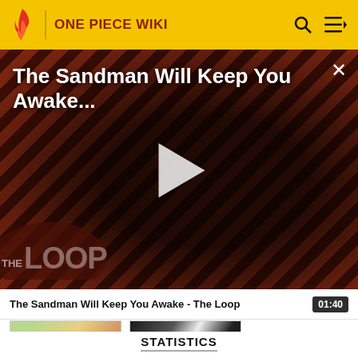ONE PIECE WIKI
[Figure (screenshot): Video thumbnail for 'The Sandman Will Keep You Awake - The Loop' with a dark-cloaked figure against diagonal red/brown stripes background, showing play button and THE LOOP watermark]
The Sandman Will Keep You Awake - The Loop
01:40
[Figure (screenshot): Two small anime/manga thumbnail images side by side]
STATISTICS